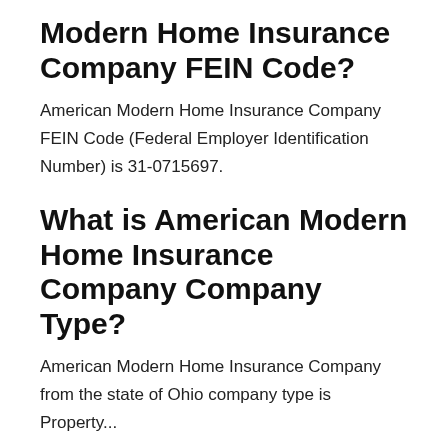Modern Home Insurance Company FEIN Code?
American Modern Home Insurance Company FEIN Code (Federal Employer Identification Number) is 31-0715697.
What is American Modern Home Insurance Company Company Type?
American Modern Home Insurance Company from the state of Ohio company type is Property...